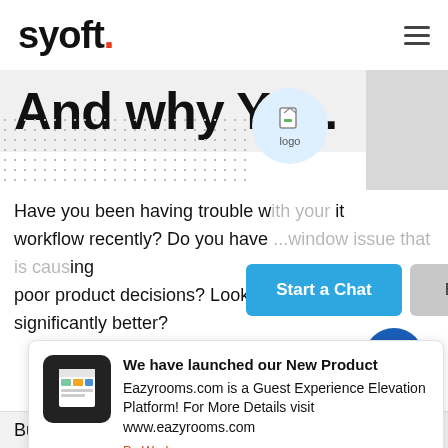syoft.
And why Yo...
[Figure (logo): Circular blue logo badge with a document/leaf icon and label 'logo']
Have you been having trouble w...it workflow recently? Do you have ...window issue that is causing poor product decisions? Looking ...ha significantly better?
We have launched our New Product
Eazyrooms.com is a Guest Experience Elevation Platform! For More Details visit www.eazyrooms.com
By Worke
But, exactly, what is a Design System?